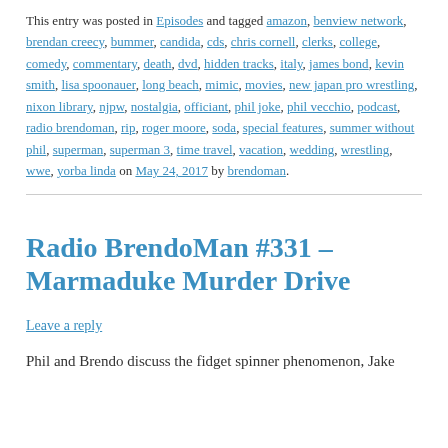This entry was posted in Episodes and tagged amazon, benview network, brendan creecy, bummer, candida, cds, chris cornell, clerks, college, comedy, commentary, death, dvd, hidden tracks, italy, james bond, kevin smith, lisa spoonauer, long beach, mimic, movies, new japan pro wrestling, nixon library, njpw, nostalgia, officiant, phil joke, phil vecchio, podcast, radio brendoman, rip, roger moore, soda, special features, summer without phil, superman, superman 3, time travel, vacation, wedding, wrestling, wwe, yorba linda on May 24, 2017 by brendoman.
Radio BrendoMan #331 – Marmaduke Murder Drive
Leave a reply
Phil and Brendo discuss the fidget spinner phenomenon, Jake